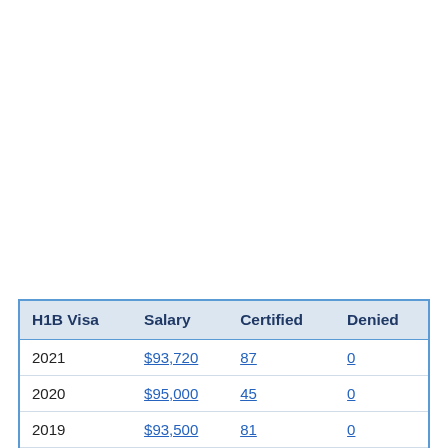| H1B Visa | Salary | Certified | Denied |
| --- | --- | --- | --- |
| 2021 | $93,720 | 87 | 0 |
| 2020 | $95,000 | 45 | 0 |
| 2019 | $93,500 | 81 | 0 |